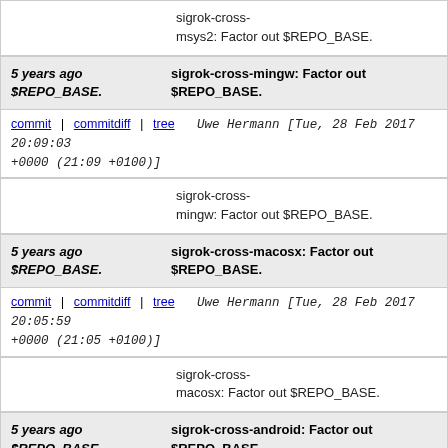sigrok-cross-msys2: Factor out $REPO_BASE.
5 years ago $REPO_BASE.   sigrok-cross-mingw: Factor out $REPO_BASE.
commit | commitdiff | tree   Uwe Hermann [Tue, 28 Feb 2017 20:09:03 +0000 (21:09 +0100)]
sigrok-cross-mingw: Factor out $REPO_BASE.
5 years ago $REPO_BASE.   sigrok-cross-macosx: Factor out $REPO_BASE.
commit | commitdiff | tree   Uwe Hermann [Tue, 28 Feb 2017 20:05:59 +0000 (21:05 +0100)]
sigrok-cross-macosx: Factor out $REPO_BASE.
5 years ago $REPO_BASE.   sigrok-cross-android: Factor out $REPO_BASE.
commit | commitdiff | tree   Uwe Hermann [Tue, 28 Feb 2017 19:47:51 +0000 (20:47 +0100)]
sigrok-cross-